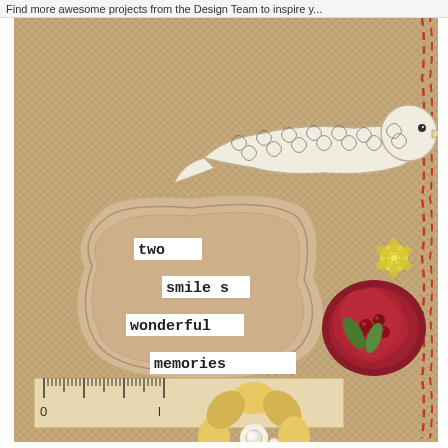Find more awesome projects from the Design Team to inspire y...
[Figure (photo): A craft scrapbook layout on burlap fabric featuring a decorative white patterned bird cutout perched above a cream-colored ornate label/tag with the words 'two smiles wonderful memories' in typewriter-style font on individual white paper strips. A wooden ruler is visible at the bottom. Fabric flowers decorate the right side: a large red/crimson ribbon rose with berry center and a yellow fabric yo-yo flower with pearl center. Red stitching runs along the right edge. Small yellow paper flowers with rhinestones accent the right.]